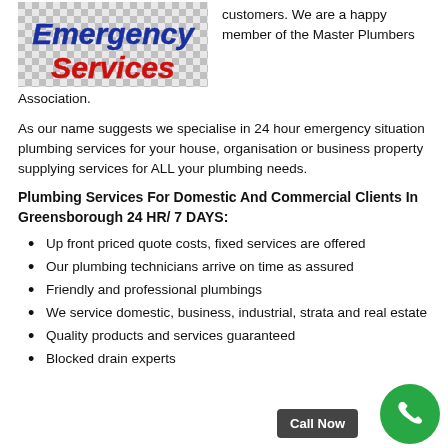[Figure (logo): Emergency Services logo with blue italic bold text 'Emergency' and red italic bold text 'Services' on a checkered background]
customers. We are a happy member of the Master Plumbers Association.
As our name suggests we specialise in 24 hour emergency situation plumbing services for your house, organisation or business property supplying services for ALL your plumbing needs.
Plumbing Services For Domestic And Commercial Clients In Greensborough 24 HR/ 7 DAYS:
Up front priced quote costs, fixed services are offered
Our plumbing technicians arrive on time as assured
Friendly and professional plumbings
We service domestic, business, industrial, strata and real estate
Quality products and services guaranteed
Blocked drain experts